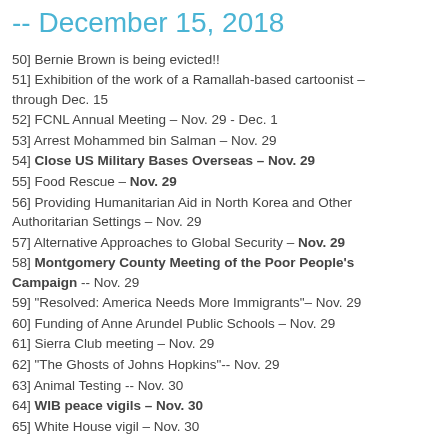-- December 15, 2018
50] Bernie Brown is being evicted!!
51] Exhibition of the work of a Ramallah-based cartoonist – through Dec. 15
52] FCNL Annual Meeting – Nov. 29 - Dec. 1
53] Arrest Mohammed bin Salman – Nov. 29
54] Close US Military Bases Overseas – Nov. 29
55] Food Rescue – Nov. 29
56] Providing Humanitarian Aid in North Korea and Other Authoritarian Settings – Nov. 29
57] Alternative Approaches to Global Security – Nov. 29
58] Montgomery County Meeting of the Poor People's Campaign -- Nov. 29
59] "Resolved: America Needs More Immigrants"– Nov. 29
60] Funding of Anne Arundel Public Schools – Nov. 29
61] Sierra Club meeting – Nov. 29
62] "The Ghosts of Johns Hopkins"-- Nov. 29
63] Animal Testing -- Nov. 30
64] WIB peace vigils – Nov. 30
65] White House vigil – Nov. 30